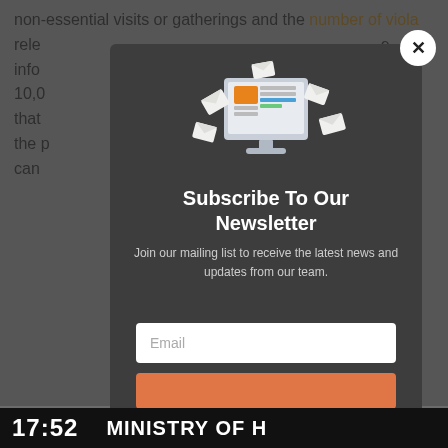non-essential visits or gatherings and the number of violations...
relevant information... IR 10,000... noted that... hope the p... can...
[Figure (screenshot): Newsletter subscription popup modal with envelope/newspaper icon, dark background, email input field, and orange subscribe button. Close button (X) in top right.]
17:52   MINISTRY OF H